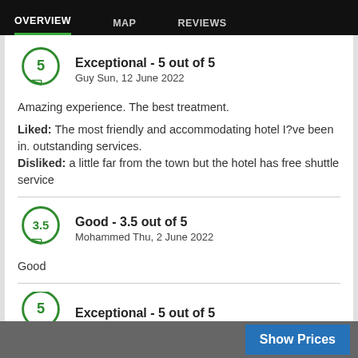OVERVIEW   MAP   REVIEWS
Exceptional - 5 out of 5
Guy Sun, 12 June 2022
Amazing experience. The best treatment.
Liked: The most friendly and accommodating hotel I?ve been in. outstanding services.
Disliked: a little far from the town but the hotel has free shuttle service
Good - 3.5 out of 5
Mohammed Thu, 2 June 2022
Good
Exceptional - 5 out of 5